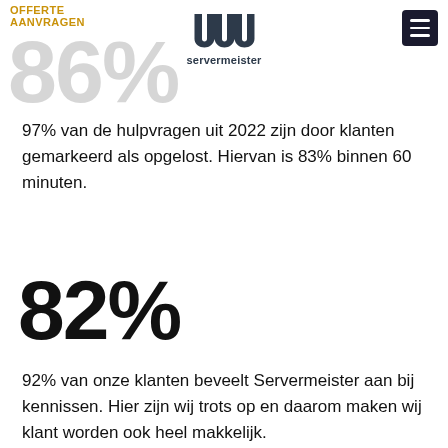OFFERTE AANVRAGEN | servermeister
86%
97% van de hulpvragen uit 2022 zijn door klanten gemarkeerd als opgelost. Hiervan is 83% binnen 60 minuten.
82%
92% van onze klanten beveelt Servermeister aan bij kennissen. Hier zijn wij trots op en daarom maken wij klant worden ook heel makkelijk.